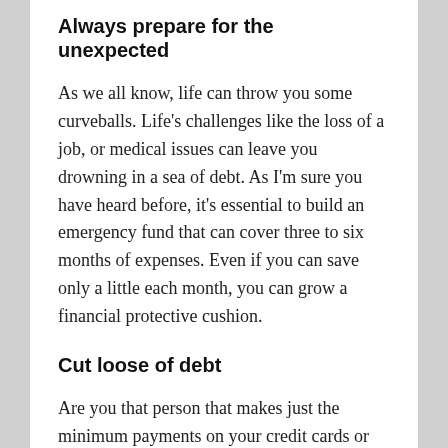Always prepare for the unexpected
As we all know, life can throw you some curveballs. Life's challenges like the loss of a job, or medical issues can leave you drowning in a sea of debt. As I'm sure you have heard before, it's essential to build an emergency fund that can cover three to six months of expenses. Even if you can save only a little each month, you can grow a financial protective cushion.
Cut loose of debt
Are you that person that makes just the minimum payments on your credit cards or other major debts? Did you know this means